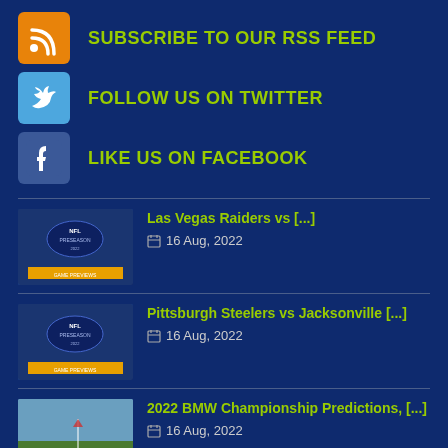SUBSCRIBE TO OUR RSS FEED
FOLLOW US ON TWITTER
LIKE US ON FACEBOOK
Las Vegas Raiders vs [...] — 16 Aug, 2022
Pittsburgh Steelers vs Jacksonville [...] — 16 Aug, 2022
2022 BMW Championship Predictions, [...] — 16 Aug, 2022
2022 BMW Championship Sleeper [...] — 16 Aug, 2022